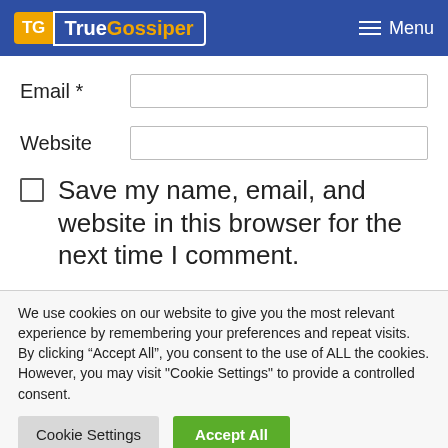TrueGossiper Menu
Email *
Website
Save my name, email, and website in this browser for the next time I comment.
We use cookies on our website to give you the most relevant experience by remembering your preferences and repeat visits. By clicking “Accept All”, you consent to the use of ALL the cookies. However, you may visit "Cookie Settings" to provide a controlled consent.
Cookie Settings
Accept All